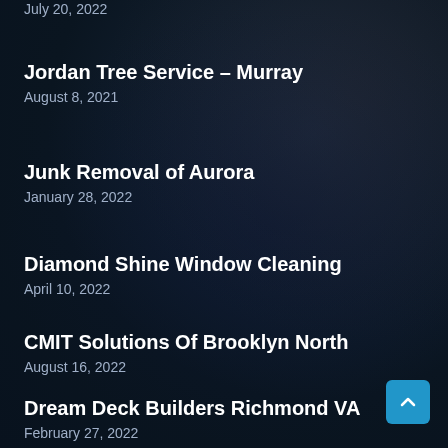July 20, 2022
Jordan Tree Service – Murray
August 8, 2021
Junk Removal of Aurora
January 28, 2022
Diamond Shine Window Cleaning
April 10, 2022
CMIT Solutions Of Brooklyn North
August 16, 2022
Dream Deck Builders Richmond VA
February 27, 2022